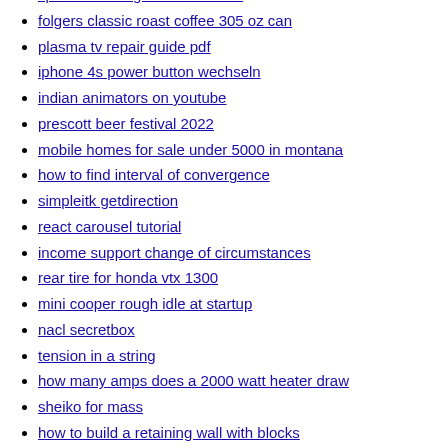spacebar drift game unblocked
folgers classic roast coffee 305 oz can
plasma tv repair guide pdf
iphone 4s power button wechseln
indian animators on youtube
prescott beer festival 2022
mobile homes for sale under 5000 in montana
how to find interval of convergence
simpleitk getdirection
react carousel tutorial
income support change of circumstances
rear tire for honda vtx 1300
mini cooper rough idle at startup
nacl secretbox
tension in a string
how many amps does a 2000 watt heater draw
sheiko for mass
how to build a retaining wall with blocks
easter bunny gifts for babies
pelpro tsc90 troubleshooting
osu mania note skins
bp number gsis
2 inch downspout elbow
tee babys wings
chromis pos tutorial